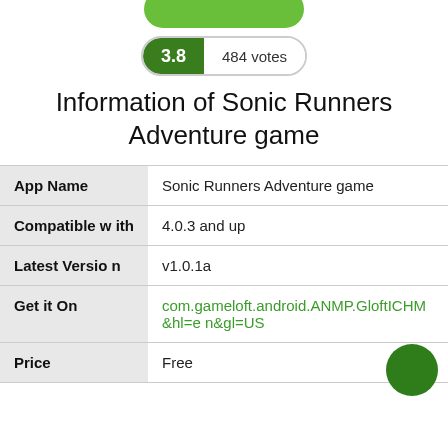[Figure (other): Cropped green rounded rectangle at top of page (app icon or banner)]
3.8   484 votes
Information of Sonic Runners Adventure game
|  |  |
| --- | --- |
| App Name | Sonic Runners Adventure game |
| Compatible with | 4.0.3 and up |
| Latest Version | v1.0.1a |
| Get it On | com.gameloft.android.ANMP.GloftICHM&hl=en&gl=US |
| Price | Free |